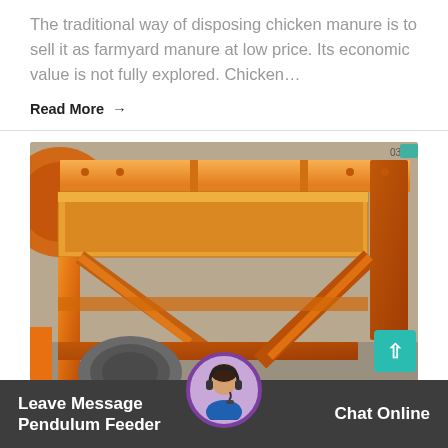The traditional way of disposing chicken manure is to sell it as farmyard manure at low price. Its economic value is not fully explored. Chicken…
Read More →
[Figure (photo): Photo of orange painted industrial pendulum feeder machine with metal frame and components, including a motor/drive unit visible at the bottom left, photographed outdoors on gravel surface.]
Leave Message   Chat Online
Pendulum Feeder